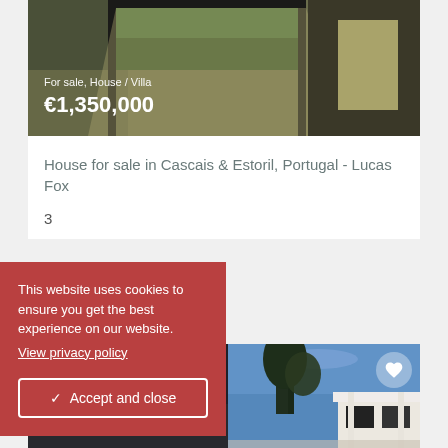[Figure (photo): Interior photo of a house showing large glass windows/doors with outdoor patio view, overlaid with price text 'For sale, House / Villa' and '€1,350,000']
For sale, House / Villa
€1,350,000
House for sale in Cascais & Estoril, Portugal - Lucas Fox
3
This website uses cookies to ensure you get the best experience on our website. View privacy policy
Accept and close
[Figure (photo): Exterior photo of a modern house with white architectural elements, blue sky, and trees in background, with a heart/favorite button overlay]